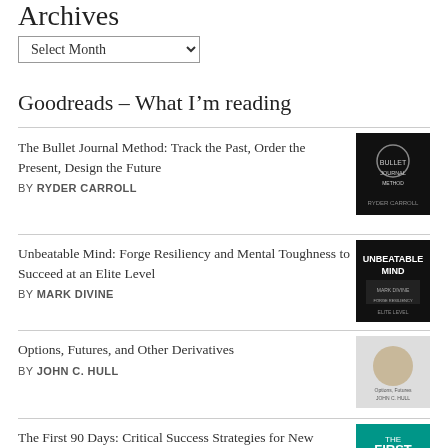Archives
Select Month
Goodreads – What I'm reading
The Bullet Journal Method: Track the Past, Order the Present, Design the Future
BY RYDER CARROLL
Unbeatable Mind: Forge Resiliency and Mental Toughness to Succeed at an Elite Level
BY MARK DIVINE
Options, Futures, and Other Derivatives
BY JOHN C. HULL
The First 90 Days: Critical Success Strategies for New Leaders at All Levels
BY MICHAEL D. WATKINS